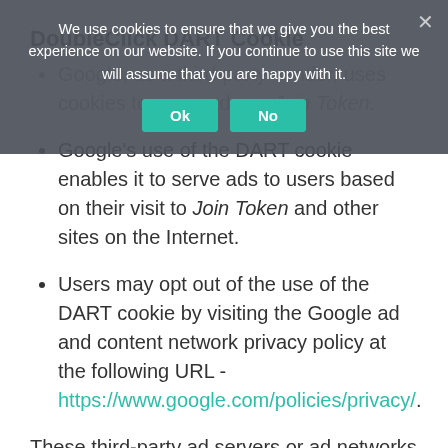DoubleClick DART Cookie
Google, as a third-party vendor, uses cookies to serve ads on Join Token.
[Figure (screenshot): Cookie consent overlay with text: 'We use cookies to ensure that we give you the best experience on our website. If you continue to use this site we will assume that you are happy with it.' with Ok and No buttons and a close X.]
Google's use of the DART cookie enables it to serve ads to users based on their visit to Join Token and other sites on the Internet.
Users may opt out of the use of the DART cookie by visiting the Google ad and content network privacy policy at the following URL - https://www.google.com/policies/privacy/.
These third-party ad servers or ad networks use technology to the advertisements and links that appear on Join Token send directly to your browser. They automatically receive your IP